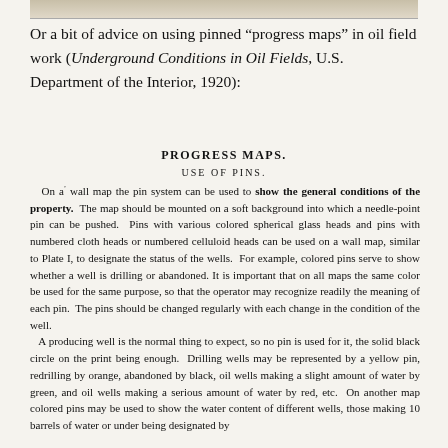[Figure (other): Top decorative/image strip at the top of the page]
Or a bit of advice on using pinned “progress maps” in oil field work (Underground Conditions in Oil Fields, U.S. Department of the Interior, 1920):
PROGRESS MAPS.
USE OF PINS.
On a wall map the pin system can be used to show the general conditions of the property. The map should be mounted on a soft background into which a needle-point pin can be pushed. Pins with various colored spherical glass heads and pins with numbered cloth heads or numbered celluloid heads can be used on a wall map, similar to Plate I, to designate the status of the wells. For example, colored pins serve to show whether a well is drilling or abandoned. It is important that on all maps the same color be used for the same purpose, so that the operator may recognize readily the meaning of each pin. The pins should be changed regularly with each change in the condition of the well.
 A producing well is the normal thing to expect, so no pin is used for it, the solid black circle on the print being enough. Drilling wells may be represented by a yellow pin, redrilling by orange, abandoned by black, oil wells making a slight amount of water by green, and oil wells making a serious amount of water by red, etc. On another map colored pins may be used to show the water content of different wells, those making 10 barrels of water or under being designated by